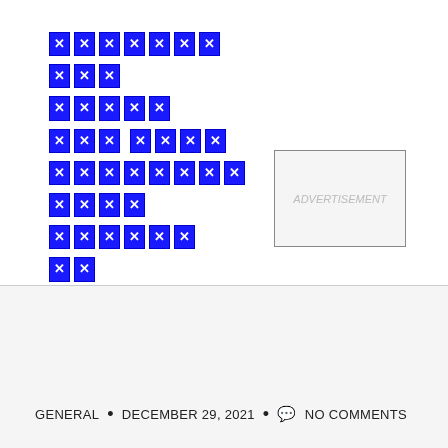[Figure (other): Navigation menu with blue X-block redacted links arranged vertically on left side, with an advertisement box on the right]
[Figure (other): Small advertisement box with light gray background and border, placeholder text visible]
HOME > GENERAL > HOW TO IMPORT AND USE CREATINE
GENERAL • DECEMBER 29, 2021 • NO COMMENTS